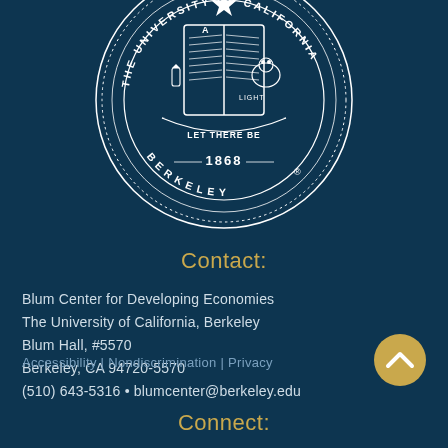[Figure (logo): University of California Berkeley official seal — circular white on dark teal, with open book, bear, star, text 'The University of California Berkeley' and year '1868', motto 'Let There Be Light']
Contact:
Blum Center for Developing Economies
The University of California, Berkeley
Blum Hall, #5570
Berkeley, CA 94720-5570
(510) 643-5316 • blumcenter@berkeley.edu
Accessibility | Nondiscrimination | Privacy
[Figure (other): Gold circular scroll-up chevron button]
Connect: